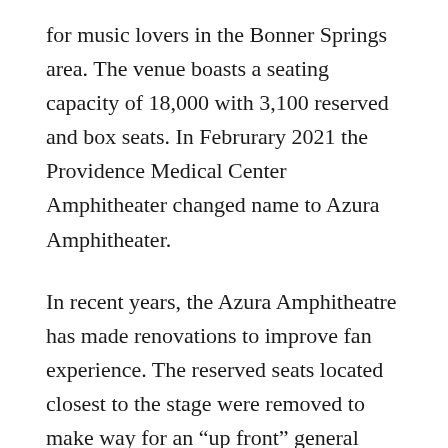for music lovers in the Bonner Springs area. The venue boasts a seating capacity of 18,000 with 3,100 reserved and box seats. In Februrary 2021 the Providence Medical Center Amphitheater changed name to Azura Amphitheater.
In recent years, the Azura Amphitheatre has made renovations to improve fan experience. The reserved seats located closest to the stage were removed to make way for an “up front” general admission area. This gives fans a chance to get close to the performers. In addition to the new seating area, a new VIP club was added and both the sound and video systems were updated. Plazas and buildings throughout the property were also updated to